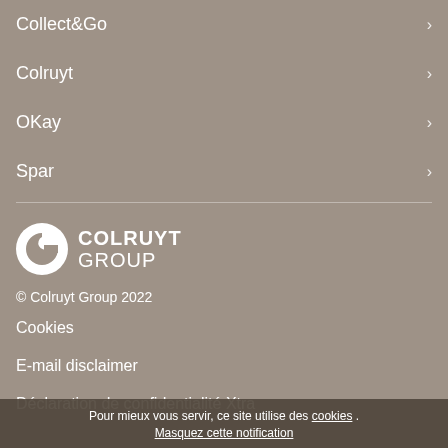Collect&Go
Colruyt
OKay
Spar
[Figure (logo): Colruyt Group logo — white stylized C icon and text COLRUYT GROUP]
© Colruyt Group 2022
Cookies
E-mail disclaimer
Déclaration de confidentialité Xtra
Pour mieux vous servir, ce site utilise des cookies .
Masquez cette notification